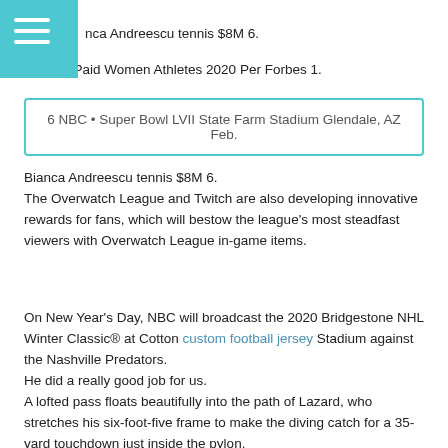nca Andreescu tennis $8M 6.
Highest Paid Women Athletes 2020 Per Forbes 1.
6 NBC • Super Bowl LVII State Farm Stadium Glendale, AZ Feb.
Bianca Andreescu tennis $8M 6.
The Overwatch League and Twitch are also developing innovative rewards for fans, which will bestow the league's most steadfast viewers with Overwatch League in-game items.
On New Year's Day, NBC will broadcast the 2020 Bridgestone NHL Winter Classic® at Cotton custom football jersey Stadium against the Nashville Predators.
He did a really good job for us.
A lofted pass floats beautifully into the path of Lazard, who stretches his six-foot-five frame to make the diving catch for a 35-yard touchdown just inside the pylon.
New York Giants NFL $3B 10.
LeBron James $88 million $28 million $60 million NBA 6.